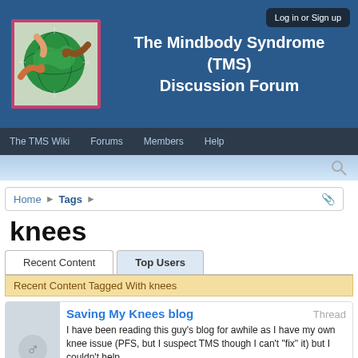[Figure (screenshot): Website header with logo showing hands holding a globe, blue background, title 'The Mindbody Syndrome (TMS) Discussion Forum', and a Log in or Sign up button]
The Mindbody Syndrome (TMS) Discussion Forum
Log in or Sign up
The TMS Wiki   Forums   Members   Help
Home > Tags
knees
Recent Content   Top Users
Recent Content Tagged With knees
Saving My Knees blog
Thread
I have been reading this guy's blog for awhile as I have my own knee issue (PFS, but I suspect TMS though I can't "fix" it) but I couldn't help...
Thread by: Mr Hip Guy, Nov 10, 2020, 0 replies, in forum: General Discussion Subforum